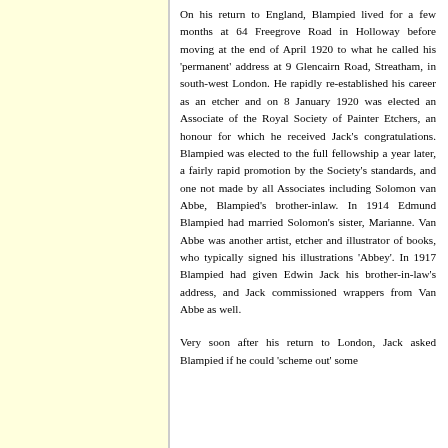On his return to England, Blampied lived for a few months at 64 Freegrove Road in Holloway before moving at the end of April 1920 to what he called his 'permanent' address at 9 Glencairn Road, Streatham, in south-west London. He rapidly re-established his career as an etcher and on 8 January 1920 was elected an Associate of the Royal Society of Painter Etchers, an honour for which he received Jack's congratulations. Blampied was elected to the full fellowship a year later, a fairly rapid promotion by the Society's standards, and one not made by all Associates including Solomon van Abbe, Blampied's brother-inlaw. In 1914 Edmund Blampied had married Solomon's sister, Marianne. Van Abbe was another artist, etcher and illustrator of books, who typically signed his illustrations 'Abbey'. In 1917 Blampied had given Edwin Jack his brother-in-law's address, and Jack commissioned wrappers from Van Abbe as well.
Very soon after his return to London, Jack asked Blampied if he could 'scheme out' some